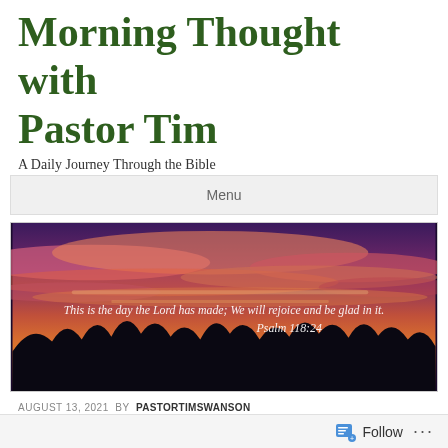Morning Thought with Pastor Tim
A Daily Journey Through the Bible
Menu
[Figure (photo): Sunset or sunrise sky with pink and orange clouds over silhouetted trees, with italic white text overlay: 'This is the day the Lord has made; We will rejoice and be glad in it. Psalm 118:24']
AUGUST 13, 2021 BY PASTORTIMSWANSON